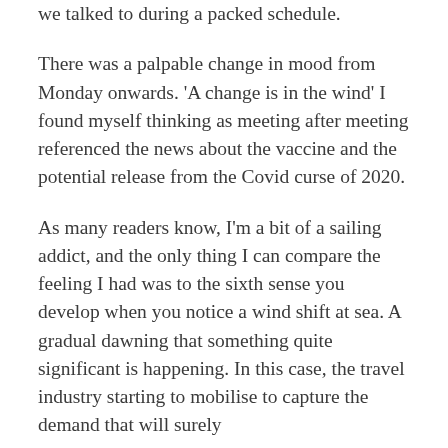we talked to during a packed schedule.
There was a palpable change in mood from Monday onwards. 'A change is in the wind' I found myself thinking as meeting after meeting referenced the news about the vaccine and the potential release from the Covid curse of 2020.
As many readers know, I'm a bit of a sailing addict, and the only thing I can compare the feeling I had was to the sixth sense you develop when you notice a wind shift at sea. A gradual dawning that something quite significant is happening. In this case, the travel industry starting to mobilise to capture the demand that will surely